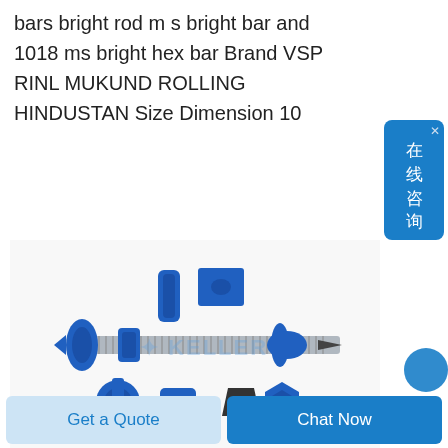bars bright rod m s bright bar and 1018 ms bright hex bar Brand VSP RINL MUKUND ROLLING HINDUSTAN Size Dimension 10
[Figure (photo): Photo of a mild steel threaded rod/bar assembly with blue plastic fittings and hardware components including nuts, washers, and connectors. A watermark reading KELLER is overlaid on the image.]
Buy Mild Steel Round Bar online now or call 0800 520 0729 FREE Order Cut to Size Earn Trade
Get a Quote
Chat Now